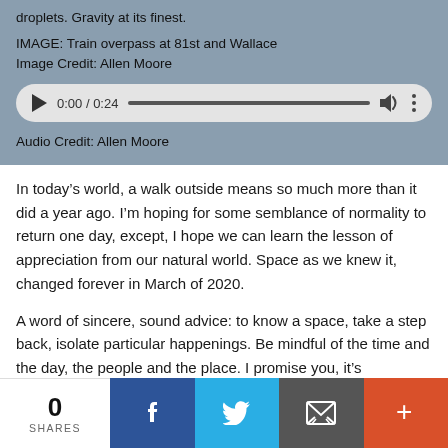droplets. Gravity at its finest.
IMAGE: Train overpass at 81st and Wallace
Image Credit: Allen Moore
[Figure (other): Audio player widget showing 0:00 / 0:24 with play button, progress bar, volume icon, and more options icon]
Audio Credit: Allen Moore
In today’s world, a walk outside means so much more than it did a year ago. I’m hoping for some semblance of normality to return one day, except, I hope we can learn the lesson of appreciation from our natural world. Space as we knew it, changed forever in March of 2020.
A word of sincere, sound advice: to know a space, take a step back, isolate particular happenings. Be mindful of the time and the day, the people and the place. I promise you, it’s absolutely grounding.
0 SHARES | Facebook | Twitter | Email | More